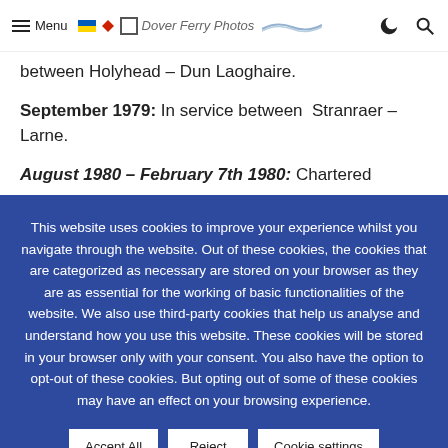Menu | Dover Ferry Photos
between Holyhead – Dun Laoghaire.
September 1979: In service between Stranraer – Larne.
August 1980 – February 7th 1980: Chartered...
This website uses cookies to improve your experience whilst you navigate through the website. Out of these cookies, the cookies that are categorized as necessary are stored on your browser as they are as essential for the working of basic functionalities of the website. We also use third-party cookies that help us analyse and understand how you use this website. These cookies will be stored in your browser only with your consent. You also have the option to opt-out of these cookies. But opting out of some of these cookies may have an effect on your browsing experience.
Accept All
Reject
Cookie settings
Read More